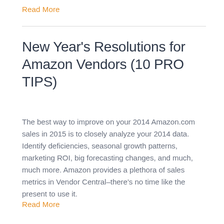Read More
New Year’s Resolutions for Amazon Vendors (10 PRO TIPS)
The best way to improve on your 2014 Amazon.com sales in 2015 is to closely analyze your 2014 data. Identify deficiencies, seasonal growth patterns, marketing ROI, big forecasting changes, and much, much more. Amazon provides a plethora of sales metrics in Vendor Central–there’s no time like the present to use it.
Read More